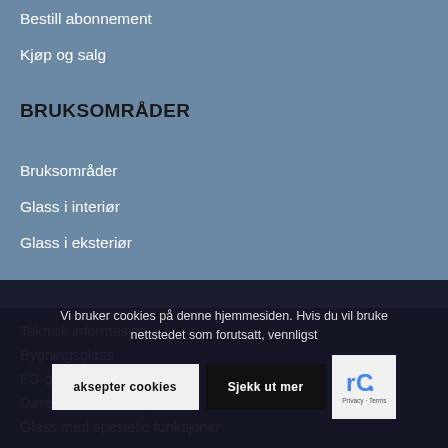Bestill abonnement
Kjøp og salg
BRUKSOMRÅDER
Bruksområder
Glass i interiør
Glass i eksteriør
TEKNISK INFORMASJON
Teknisk informasjon
Bygningsglass
FG-godkj...
Dører, vi... onstruksjoner
Glass med spesielle funksjoner
Vi bruker cookies på denne hjemmesiden. Hvis du vil bruke nettstedet som forutsatt, vennligst
aksepter cookies
Sjekk ut mer